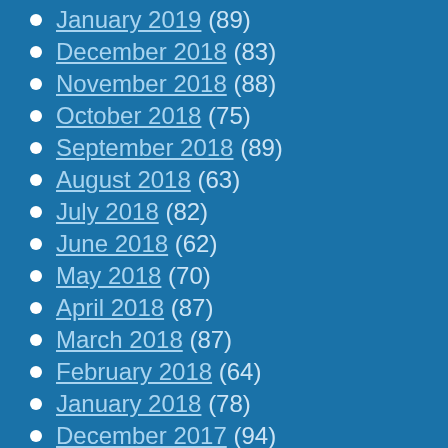January 2019 (89)
December 2018 (83)
November 2018 (88)
October 2018 (75)
September 2018 (89)
August 2018 (63)
July 2018 (82)
June 2018 (62)
May 2018 (70)
April 2018 (87)
March 2018 (87)
February 2018 (64)
January 2018 (78)
December 2017 (94)
November 2017 (89)
October 2017 (113)
September 2017 (80)